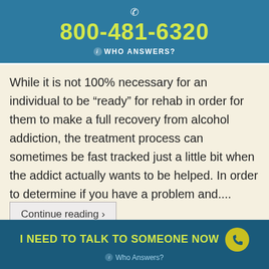800-481-6320 WHO ANSWERS?
While it is not 100% necessary for an individual to be “ready” for rehab in order for them to make a full recovery from alcohol addiction, the treatment process can sometimes be fast tracked just a little bit when the addict actually wants to be helped. In order to determine if you have a problem and....
Continue reading ›
5 Ways Free Rehab Facilities Can Help You
[Figure (photo): Partial image of a person, showing hair and upper body]
I NEED TO TALK TO SOMEONE NOW  Who Answers?